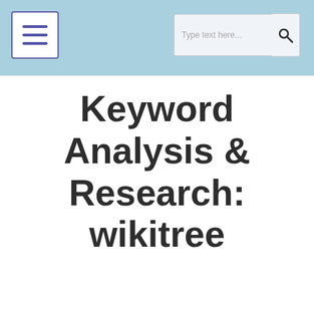Keyword Analysis & Research: wikitree